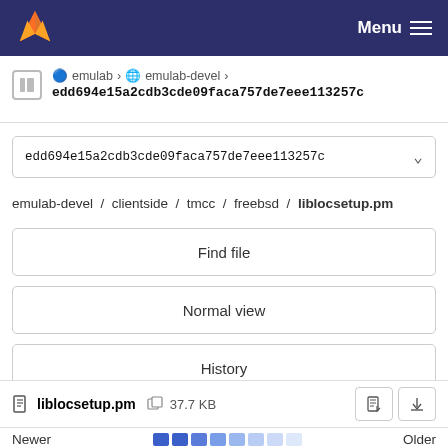Menu
emulab > emulab-devel > edd694e15a2cdb3cde09faca757de7eee113257c
edd694e15a2cdb3cde09faca757de7eee113257c
emulab-devel / clientside / tmcc / freebsd / liblocsetup.pm
Find file
Normal view
History
Permalink
liblocsetup.pm  37.7 KB
Newer  Older